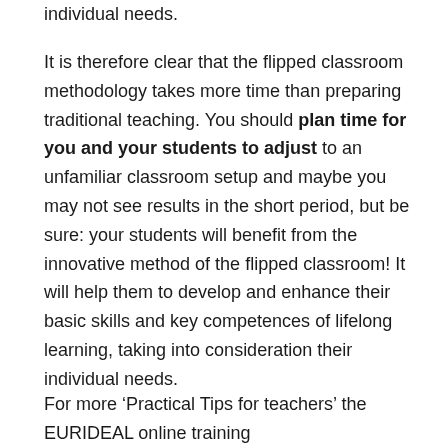individual needs.
It is therefore clear that the flipped classroom methodology takes more time than preparing traditional teaching. You should plan time for you and your students to adjust to an unfamiliar classroom setup and maybe you may not see results in the short period, but be sure: your students will benefit from the innovative method of the flipped classroom! It will help them to develop and enhance their basic skills and key competences of lifelong learning, taking into consideration their individual needs.
For more ‘Practical Tips for teachers’ the EUR IDEAL online training...